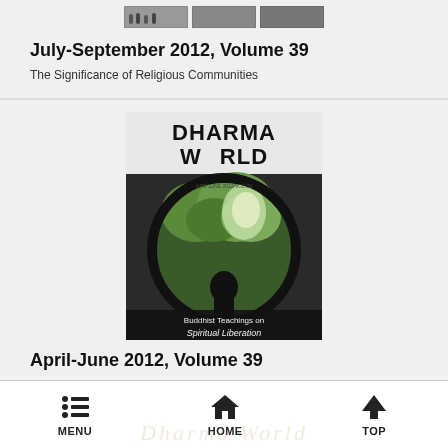[Figure (photo): Small collage of group photos at top of page]
July-September 2012, Volume 39
The Significance of Religious Communities
[Figure (photo): Dharma World magazine cover for April-June 2012 Volume 39 showing a silhouetted person in a circular window with trees, titled Buddhist Teachings on Spiritual Liberation]
April-June 2012, Volume 39
Buddhist Teachings on Spiritual Liberation
MENU  HOME  TOP